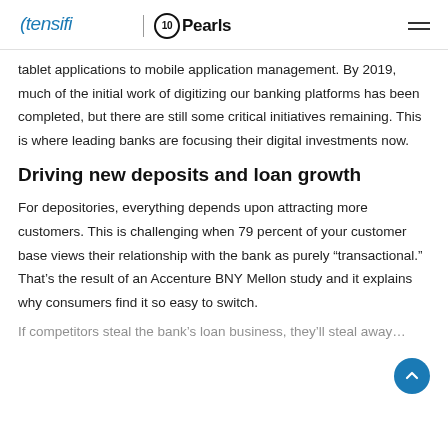Xtensifi | 10Pearls
tablet applications to mobile application management. By 2019, much of the initial work of digitizing our banking platforms has been completed, but there are still some critical initiatives remaining. This is where leading banks are focusing their digital investments now.
Driving new deposits and loan growth
For depositories, everything depends upon attracting more customers. This is challenging when 79 percent of your customer base views their relationship with the bank as purely “transactional.” That’s the result of an Accenture BNY Mellon study and it explains why consumers find it so easy to switch.
If competitors steal the bank’s loan business, they’ll steal away…